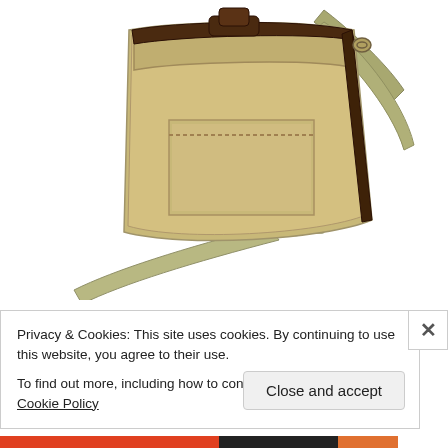[Figure (photo): A khaki/tan canvas messenger bag with a brown leather trim, metal buckle hardware, and a wide adjustable olive/beige shoulder strap. The bag is photographed on a white background at a slight angle showing the front and side.]
Filson Twill and Tweed Original
Privacy & Cookies: This site uses cookies. By continuing to use this website, you agree to their use.
To find out more, including how to control cookies, see here: Cookie Policy